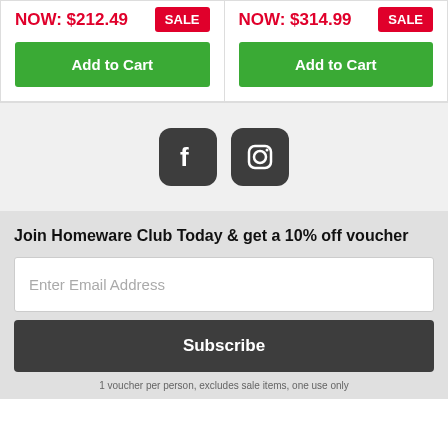NOW: $212.49
SALE
Add to Cart
NOW: $314.99
SALE
Add to Cart
[Figure (logo): Facebook and Instagram social media icons as dark rounded square buttons]
Join Homeware Club Today & get a 10% off voucher
Enter Email Address
Subscribe
1 voucher per person, excludes sale items, one use only